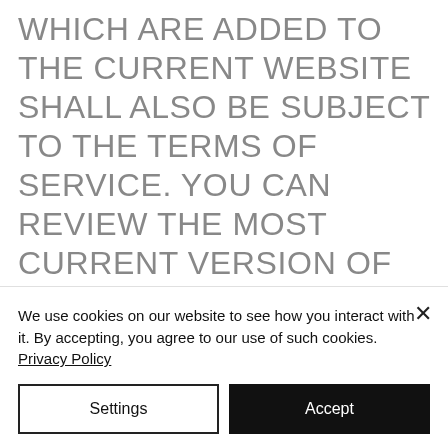WHICH ARE ADDED TO THE CURRENT WEBSITE SHALL ALSO BE SUBJECT TO THE TERMS OF SERVICE. YOU CAN REVIEW THE MOST CURRENT VERSION OF THE TERMS OF SERVICE AT ANY TIME ON THIS PAGE. WE RESERVE THE RIGHT TO UPDATE, CHANGE OR REPLACE ANY PART OF THESE TERMS OF SERVICE BY POSTING UPDATES AND/OR CHANGES TO OUR
We use cookies on our website to see how you interact with it. By accepting, you agree to our use of such cookies. Privacy Policy